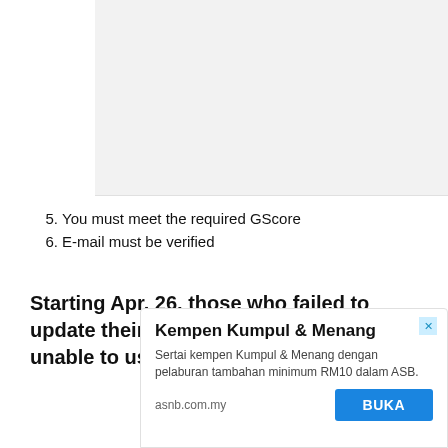[Figure (other): Gray placeholder box at the top right portion of the page]
5. You must meet the required GScore
6. E-mail must be verified
Starting Apr. 26, those who failed to update their information will be unable to use the GCredit service.
[Figure (other): Advertisement banner: Kempen Kumpul & Menang — Sertai kempen Kumpul & Menang dengan pelaburan tambahan minimum RM10 dalam ASB. asnb.com.my | BUKA button]